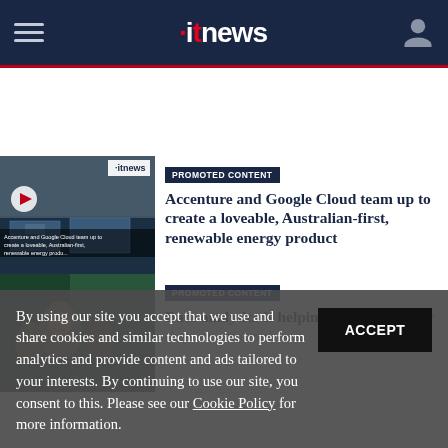itnews
[Figure (screenshot): Thumbnail image for Accenture and Google Cloud article showing solar panels with ITnews logo overlay and play button]
PROMOTED CONTENT
Accenture and Google Cloud team up to create a loveable, Australian-first, renewable energy product
[Figure (photo): Thumbnail photo of a smiling student for school data analytics article]
PROMOTED CONTENT
Data analytics is helping schools embrace their new normal
By using our site you accept that we use and share cookies and similar technologies to perform analytics and provide content and ads tailored to your interests. By continuing to use our site, you consent to this. Please see our Cookie Policy for more information.